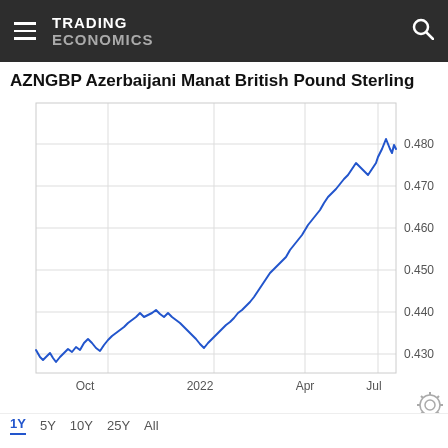TRADING ECONOMICS
AZNGBP Azerbaijani Manat British Pound Sterling
[Figure (continuous-plot): Line chart showing AZNGBP (Azerbaijani Manat to British Pound Sterling) exchange rate over approximately 1 year from around August 2021 to July 2022. The rate starts near 0.425, dips, rises to about 0.447 around Oct 2021, falls back, rises sharply from early 2022 through April reaching about 0.475-0.480, then continues upward to peak near 0.490 around July 2022.]
1Y  5Y  10Y  25Y  All